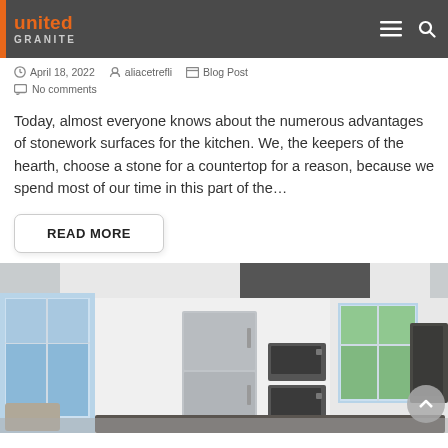united GRANITE
April 18, 2022  aliacetrefli  Blog Post
No comments
Today, almost everyone knows about the numerous advantages of stonework surfaces for the kitchen. We, the keepers of the hearth, choose a stone for a countertop for a reason, because we spend most of our time in this part of the…
READ MORE
[Figure (photo): Modern white kitchen interior with stainless steel appliances, refrigerator, built-in oven, large windows showing outdoor view]